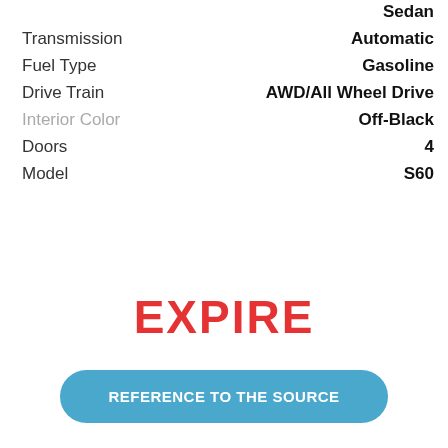Sedan
Transmission	Automatic
Fuel Type	Gasoline
Drive Train	AWD/All Wheel Drive
Interior Color	Off-Black
Doors	4
Model	S60
EXPIRE
REFERENCE TO THE SOURCE